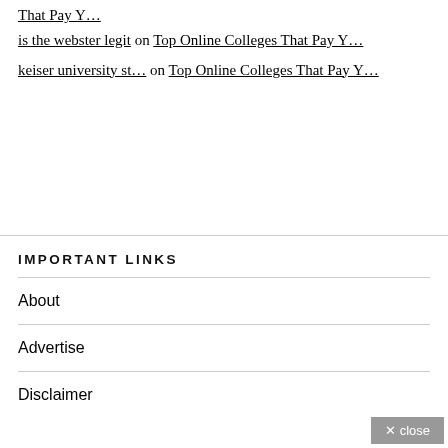That Pay Y…
is the webster legit on Top Online Colleges That Pay Y…
keiser university st… on Top Online Colleges That Pay Y…
IMPORTANT LINKS
About
Advertise
Disclaimer